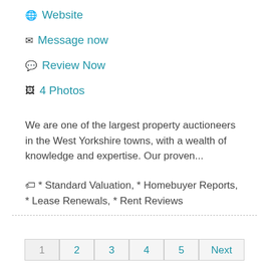Website
Message now
Review Now
4 Photos
We are one of the largest property auctioneers in the West Yorkshire towns, with a wealth of knowledge and expertise. Our proven...
* Standard Valuation, * Homebuyer Reports, * Lease Renewals, * Rent Reviews
1 2 3 4 5 Next